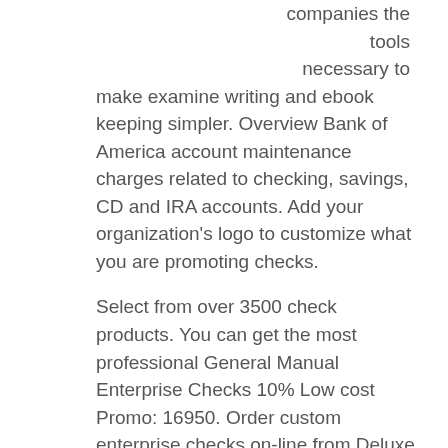companies the tools necessary to make examine writing and ebook keeping simpler. Overview Bank of America account maintenance charges related to checking, savings, CD and IRA accounts. Add your organization's logo to customize what you are promoting checks.
Select from over 3500 check products. You can get the most professional General Manual Enterprise Checks 10% Low cost Promo: 16950. Order custom enterprise checks on-line from Deluxe with FREE transport. Make your private finances more fun with customized checks.
Supplying your company with custom, excessive-quality checks is likely one of the smartest issues that a business proprietor can do. At , we make it simple and inexpensive to get all you'll ever want, together with